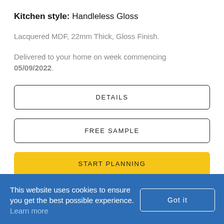Kitchen style: Handleless Gloss
Lacquered MDF, 22mm Thick, Gloss Finish.
Delivered to your home on week commencing 05/09/2022.
DETAILS
FREE SAMPLE
START PLANNING
This website uses cookies to ensure you get the best possible experience. Learn more  Got it